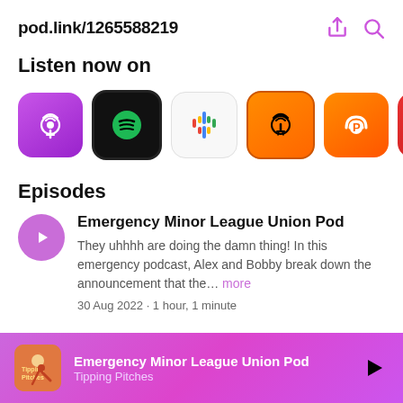pod.link/1265588219
Listen now on
[Figure (screenshot): Row of podcast app icons: Apple Podcasts (purple), Spotify (black/green), Google Podcasts (colorful), Overcast (orange with tower), Pocket Casts (orange with P), Castbox (red with C), and a partially visible orange icon]
Episodes
Emergency Minor League Union Pod
They uhhhh are doing the damn thing! In this emergency podcast, Alex and Bobby break down the announcement that the... more
30 Aug 2022 · 1 hour, 1 minute
Emergency Minor League Union Pod
Tipping Pitches